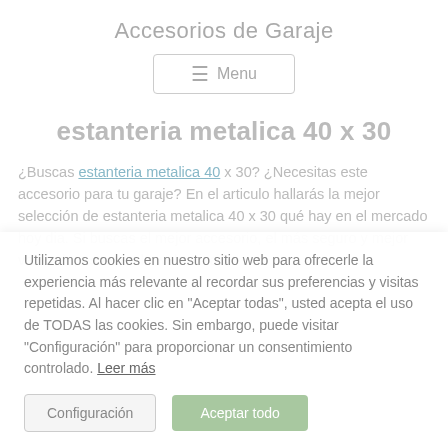Accesorios de Garaje
Menu
estanteria metalica 40 x 30
¿Buscas estanteria metalica 40 x 30? ¿Necesitas este accesorio para tu garaje? En el articulo hallarás la mejor selección de estanteria metalica 40 x 30 qué hay en el mercado hoy dia. Si buscas el mejor accesorio, el más seguro y mejor valorado, estas en la web atinada.
Utilizamos cookies en nuestro sitio web para ofrecerle la experiencia más relevante al recordar sus preferencias y visitas repetidas. Al hacer clic en "Aceptar todas", usted acepta el uso de TODAS las cookies. Sin embargo, puede visitar "Configuración" para proporcionar un consentimiento controlado. Leer más
Configuración
Aceptar todo